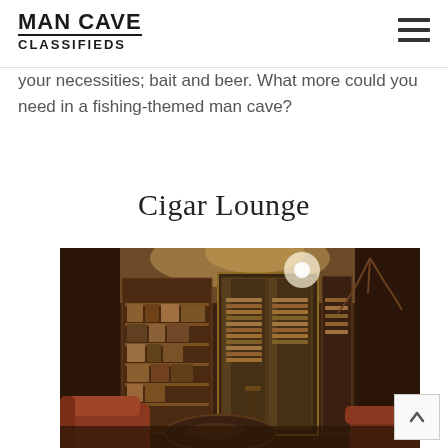MAN CAVE CLASSIFIEDS
your necessities; bait and beer. What more could you need in a fishing-themed man cave?
Cigar Lounge
[Figure (photo): Interior of a cigar lounge with dark wood shelving filled with cigars and accessories, glass-fronted humidor cabinets, warm amber lighting, leather armchairs in the foreground, and an antler chandelier in the background.]
Back to top button (arrow up)